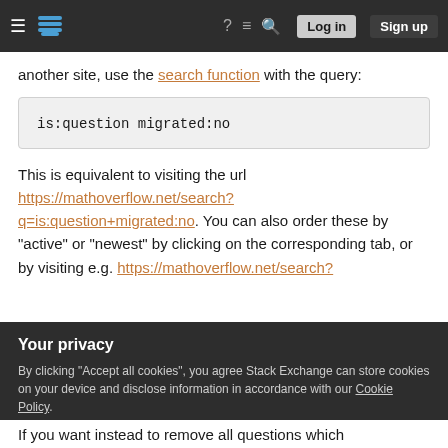[Figure (screenshot): Stack Exchange navigation bar with hamburger menu, logo, icons for help, chat, search, and Log in / Sign up buttons]
another site, use the search function with the query:
is:question migrated:no
This is equivalent to visiting the url https://mathoverflow.net/search?q=is:question+migrated:no. You can also order these by "active" or "newest" by clicking on the corresponding tab, or by visiting e.g. https://mathoverflow.net/search?
Your privacy
By clicking "Accept all cookies", you agree Stack Exchange can store cookies on your device and disclose information in accordance with our Cookie Policy.
Accept all cookies   Customize settings
If you want instead to remove all questions which